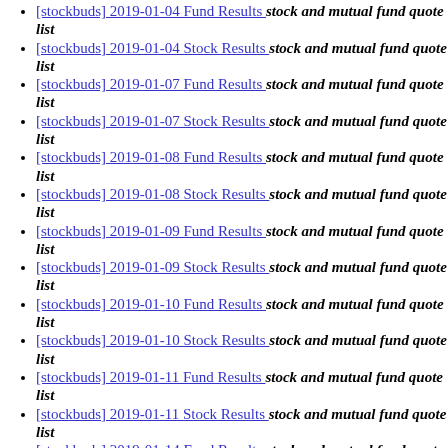[stockbuds] 2019-01-04 Fund Results  stock and mutual fund quote list
[stockbuds] 2019-01-04 Stock Results  stock and mutual fund quote list
[stockbuds] 2019-01-07 Fund Results  stock and mutual fund quote list
[stockbuds] 2019-01-07 Stock Results  stock and mutual fund quote list
[stockbuds] 2019-01-08 Fund Results  stock and mutual fund quote list
[stockbuds] 2019-01-08 Stock Results  stock and mutual fund quote list
[stockbuds] 2019-01-09 Fund Results  stock and mutual fund quote list
[stockbuds] 2019-01-09 Stock Results  stock and mutual fund quote list
[stockbuds] 2019-01-10 Fund Results  stock and mutual fund quote list
[stockbuds] 2019-01-10 Stock Results  stock and mutual fund quote list
[stockbuds] 2019-01-11 Fund Results  stock and mutual fund quote list
[stockbuds] 2019-01-11 Stock Results  stock and mutual fund quote list
[stockbuds] 2019-01-14 Fund Results  stock and mutual fund quote list